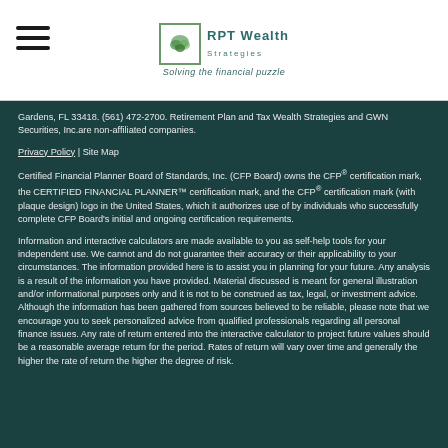[Figure (logo): RPT Wealth Strategies logo with leaf icon and tagline 'Solving the financial puzzle']
Gardens, FL 33418. (561) 472-2700. Retirement Plan and Tax Wealth Strategies and GWN Securities, Inc.are non-affiliated companies.
Privacy Policy | Site Map
Certified Financial Planner Board of Standards, Inc. (CFP Board) owns the CFP® certification mark, the CERTIFIED FINANCIAL PLANNER™ certification mark, and the CFP® certification mark (with plaque design) logo in the United States, which it authorizes use of by individuals who successfully complete CFP Board's initial and ongoing certification requirements.
Information and interactive calculators are made available to you as self-help tools for your independent use. We cannot and do not guarantee their accuracy or their applicability to your circumstances. The information provided here is to assist you in planning for your future. Any analysis is a result of the information you have provided. Material discussed is meant for general illustration and/or informational purposes only and it is not to be construed as tax, legal, or investment advice. Although the information has been gathered from sources believed to be reliable, please note that we encourage you to seek personalized advice from qualified professionals regarding all personal finance issues. Any rate of return entered into the interactive calculator to project future values should be a reasonable average return for the period. Rates of return will vary over time and generally the higher the rate of return the higher the degree of risk.